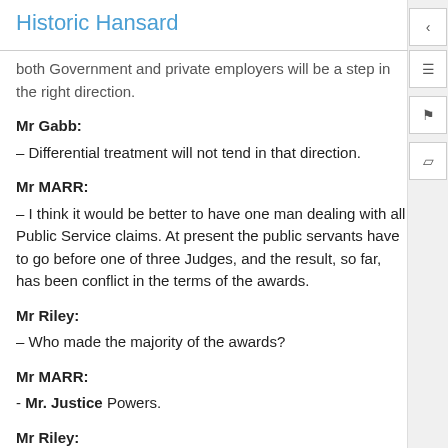Historic Hansard
both Government and private employers will be a step in the right direction.
Mr Gabb:
– Differential treatment will not tend in that direction.
Mr MARR:
– I think it would be better to have one man dealing with all Public Service claims. At present the public servants have to go before one of three Judges, and the result, so far, has been conflict in the terms of the awards.
Mr Riley:
– Who made the majority of the awards?
Mr MARR:
- Mr. Justice Powers.
Mr Riley: